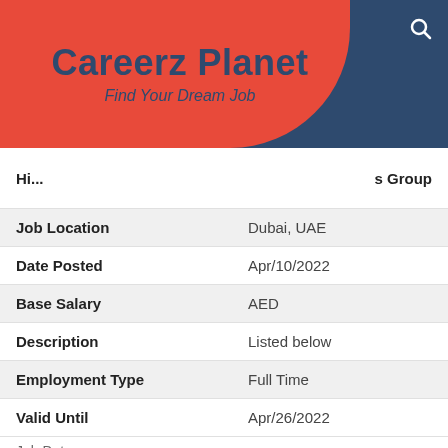[Figure (logo): Careerz Planet logo on red rounded shape with dark blue header bar. Text: 'Careerz Planet' and 'Find Your Dream Job'. Search icon on top right.]
| Field | Value |
| --- | --- |
| Hi... s Group |  |
| Job Location | Dubai, UAE |
| Date Posted | Apr/10/2022 |
| Base Salary | AED |
| Description | Listed below |
| Employment Type | Full Time |
| Valid Until | Apr/26/2022 |
Job Data
[Figure (logo): Bottom banner image showing diagonal lines on the left, CareerzPlanet circular logo in the center, and a back-to-top circular button on the right.]